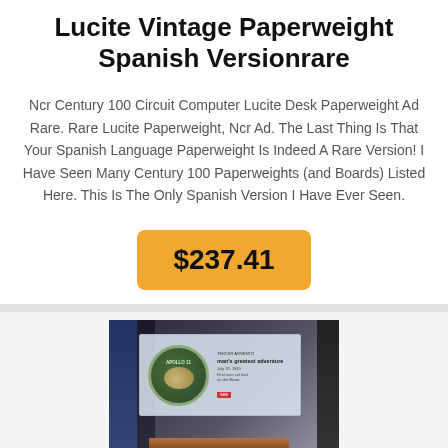Lucite Vintage Paperweight Spanish Versionrare
Ncr Century 100 Circuit Computer Lucite Desk Paperweight Ad Rare. Rare Lucite Paperweight, Ncr Ad. The Last Thing Is That Your Spanish Language Paperweight Is Indeed A Rare Version! I Have Seen Many Century 100 Paperweights (and Boards) Listed Here. This Is The Only Spanish Version I Have Ever Seen.
$237.41
[Figure (photo): Photo of an Apollo 11 Lucite paperweight/desk display on a wooden stand, showing the Apollo 11 mission patch on the left side and descriptive text on the right side, with books visible in the background.]